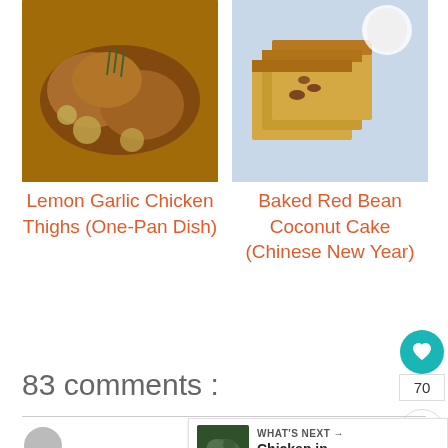[Figure (photo): Photo of lemon garlic chicken thighs in a cast iron skillet with lemon slices and herbs]
Lemon Garlic Chicken Thighs (One-Pan Dish)
[Figure (photo): Photo of baked red bean coconut cake squares stacked]
Baked Red Bean Coconut Cake (Chinese New Year)
70
83 comments :
WHAT'S NEXT → Chicken in Black Bean...